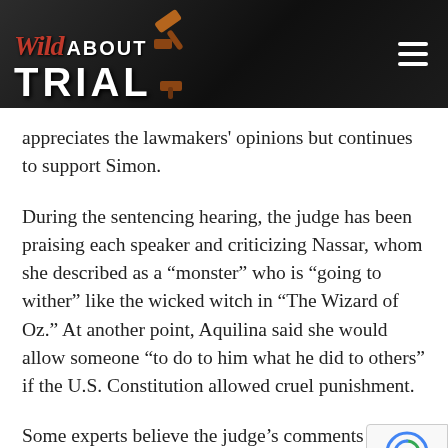Wild About Trial
appreciates the lawmakers' opinions but continues to support Simon.
During the sentencing hearing, the judge has been praising each speaker and criticizing Nassar, whom she described as a “monster” who is “going to wither” like the wicked witch in “The Wizard of Oz.” At another point, Aquilina said she would allow someone “to do to him what he did to others” if the U.S. Constitution allowed cruel punishment.
Some experts believe the judge’s comments could create an issue for appeal after Nassar is sentenced.